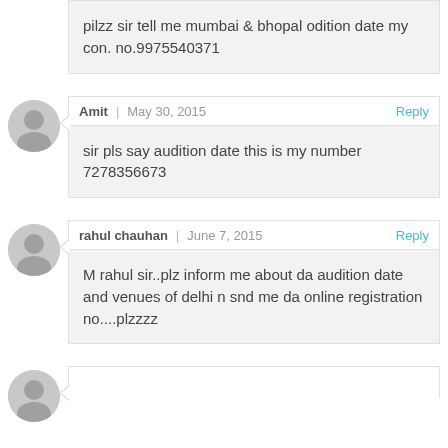pilzz sir tell me mumbai & bhopal odition date my con. no.9975540371
Amit | May 30, 2015 Reply
sir pls say audition date this is my number 7278356673
rahul chauhan | June 7, 2015 Reply
M rahul sir..plz inform me about da audition date and venues of delhi n snd me da online registration no....plzzzz